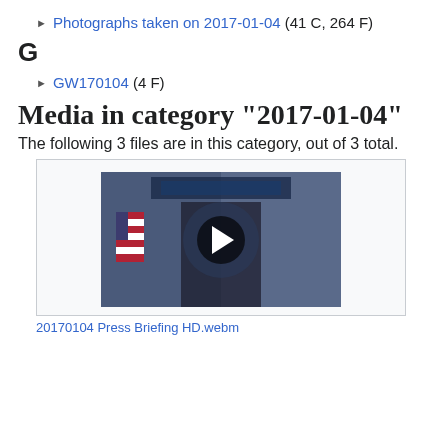▶ Photographs taken on 2017-01-04 (41 C, 264 F)
G
▶ GW170104 (4 F)
Media in category "2017-01-04"
The following 3 files are in this category, out of 3 total.
[Figure (screenshot): Video thumbnail for 20170104 Press Briefing HD.webm showing a press briefing scene with a play button overlay]
20170104 Press Briefing HD.webm